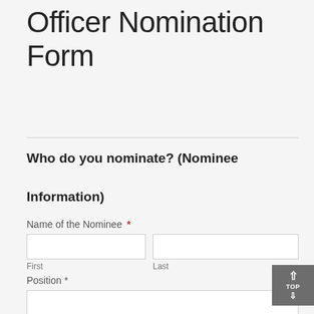Officer Nomination Form
Who do you nominate? (Nominee Information)
Name of the Nominee *
First
Last
Position *